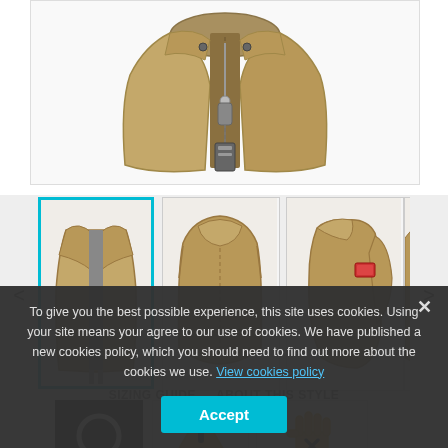[Figure (photo): Main product image area showing top of a tan/khaki jacket with zipper detail and tag, partially visible from above]
[Figure (photo): Thumbnail 1 (active/selected): Front view of tan khaki jacket open, on mannequin, with cyan/teal border]
[Figure (photo): Thumbnail 2: Rear/shoulder view of tan khaki jacket]
[Figure (photo): Thumbnail 3: Side view of tan khaki jacket showing sleeve patch]
[Figure (photo): Thumbnail 4: Partial view of jacket, cut off]
[Figure (illustration): Black square badge with white female/Venus gender symbol]
[Figure (illustration): CA PROP 65 WARNING badge: orange/yellow warning triangle with exclamation mark, text CA PROP 65 WARNING]
[Figure (illustration): JACKET & PANT DISCLAIMER badge: orange hand with X symbol, text JACKET & PANT DISCLAIMER]
To give you the best possible experience, this site uses cookies. Using your site means your agree to our use of cookies. We have published a new cookies policy, which you should need to find out more about the cookies we use. View cookies policy
Accept
SIZING GUIDE   ABOUT THIS STYLE
MATERIAL SPECS